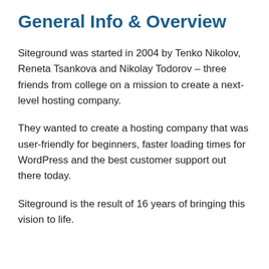General Info & Overview
Siteground was started in 2004 by Tenko Nikolov, Reneta Tsankova and Nikolay Todorov – three friends from college on a mission to create a next-level hosting company.
They wanted to create a hosting company that was user-friendly for beginners, faster loading times for WordPress and the best customer support out there today.
Siteground is the result of 16 years of bringing this vision to life.